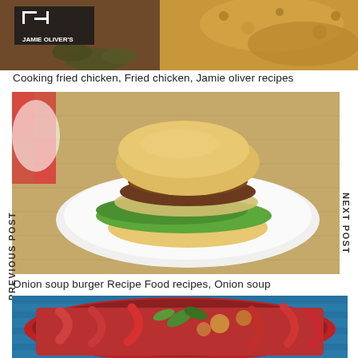[Figure (photo): Jamie Oliver's fried chicken food photo with logo overlay]
Cooking fried chicken, Fried chicken, Jamie oliver recipes
[Figure (photo): A burger with cheese, lettuce and caramelized onions on a white plate, with PREVIOUS POST label on left and NEXT POST on right]
Onion soup burger Recipe Food recipes, Onion soup
[Figure (photo): Red pasta dish with herbs in a red baking dish on a blue surface]